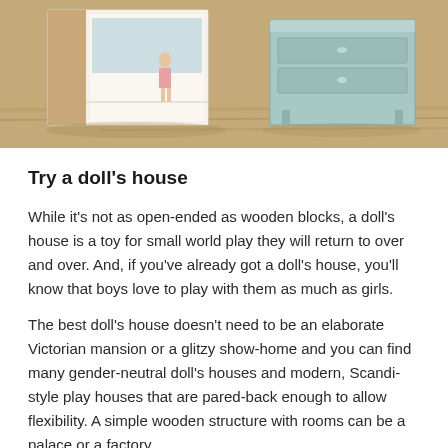[Figure (photo): Photo of miniature doll's house furniture pieces — a white open cabinet-style dollhouse with a small doll figure inside, and a mint/light blue dresser with drawers, placed on a textured straw/hay background.]
Try a doll's house
While it's not as open-ended as wooden blocks, a doll's house is a toy for small world play they will return to over and over. And, if you've already got a doll's house, you'll know that boys love to play with them as much as girls.
The best doll's house doesn't need to be an elaborate Victorian mansion or a glitzy show-home and you can find many gender-neutral doll's houses and modern, Scandi-style play houses that are pared-back enough to allow flexibility. A simple wooden structure with rooms can be a palace or a factory.
When they play with figures and props in this setting,